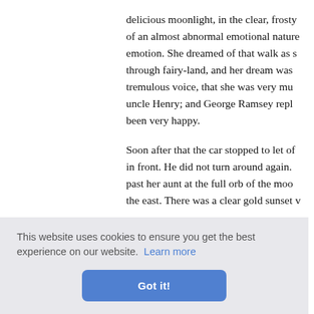delicious moonlight, in the clear, frosty of an almost abnormal emotional nature emotion. She dreamed of that walk as s through fairy-land, and her dream was tremulous voice, that she was very mu uncle Henry; and George Ramsey repl been very happy.
Soon after that the car stopped to let of in front. He did not turn around again. past her aunt at the full orb of the moo the east. There was a clear gold sunset v
little, dep Henry abo reddening Eunice. nights, and he always takes his bath Sat
This website uses cookies to ensure you get the best experience on our website. Learn more Got it!